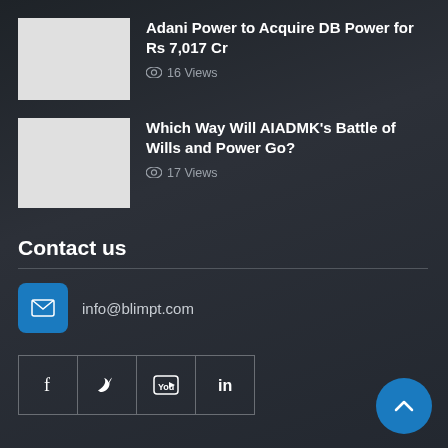Adani Power to Acquire DB Power for Rs 7,017 Cr
16 Views
Which Way Will AIADMK's Battle of Wills and Power Go?
17 Views
Contact us
info@blimpt.com
[Figure (other): Social media icon buttons: Facebook, Twitter, YouTube, LinkedIn]